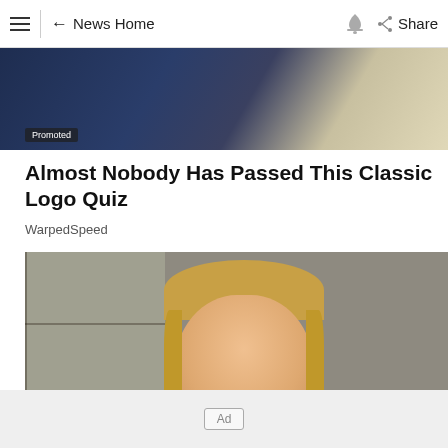≡  ← News Home  🔔  Share
[Figure (photo): Cropped promotional image showing a light-colored object (possibly a hat or garment) against a dark navy background]
Promoted
Almost Nobody Has Passed This Classic Logo Quiz
WarpedSpeed
[Figure (photo): A young blonde girl smiling at the camera, standing in front of a weathered wooden door or wall]
Ad